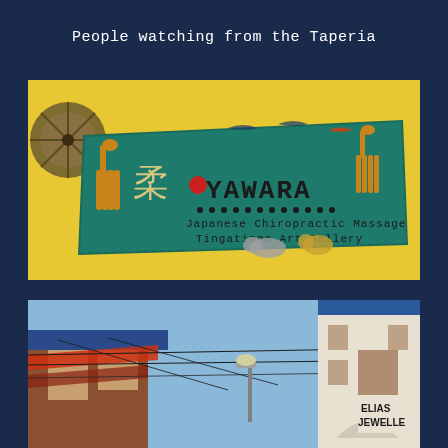People watching from the Taperia
[Figure (photo): A colorful painted sign for Yawara Japanese Chiropractic Massage and Tingatinga Art Gallery, decorated with African wildlife including giraffes, elephants, and birds on a teal/green background. Text reads: YAWARA, Japanese Chiropractic Massage, Tingatinga Art Gallery. The sign is mounted on a yellow wall with a fan visible on the left.]
[Figure (photo): Street scene looking up at buildings, featuring wires strung between buildings, a blue sky, a street lamp, and signage including 'ELIAS JEWELLE' visible on a white building on the right.]